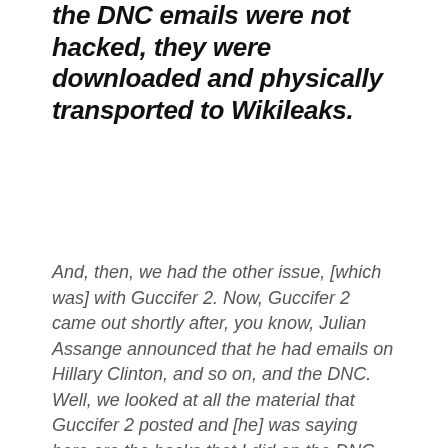the DNC emails were not hacked, they were downloaded and physically transported to Wikileaks.
And, then, we had the other issue, [which was] with Guccifer 2. Now, Guccifer 2 came out shortly after, you know, Julian Assange announced that he had emails on Hillary Clinton, and so on, and the DNC. Well, we looked at all the material that Guccifer 2 posted and [he] was saying here are the hacks that I did on the DNC. He claimed he did one on the fifth of July, and